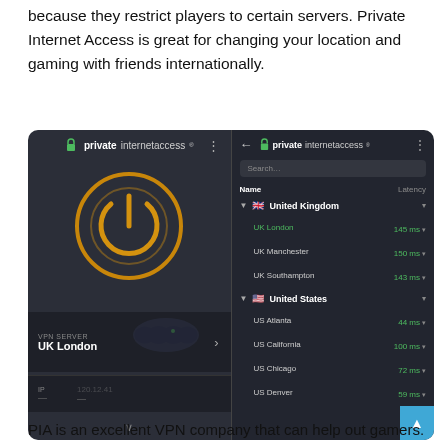because they restrict players to certain servers. Private Internet Access is great for changing your location and gaming with friends internationally.
[Figure (screenshot): Two mobile app screenshots of Private Internet Access VPN. Left screen shows the main VPN screen with power button icon and 'UK London' server selected. Right screen shows server list with United Kingdom (UK London, UK Manchester, UK Southampton) and United States (US Atlanta, US California, US Chicago, US Denver) servers with latency values.]
PIA is an excellent VPN company that can help out gamers.